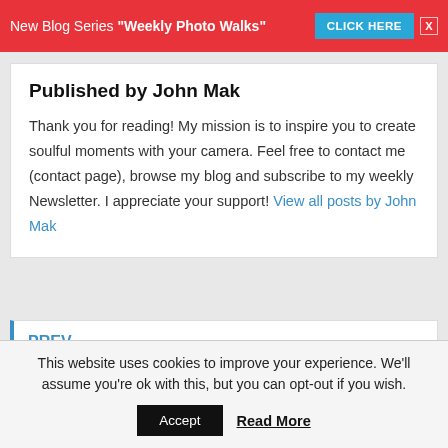New Blog Series "Weekly Photo Walks" CLICK HERE
Published by John Mak
Thank you for reading! My mission is to inspire you to create soulful moments with your camera. Feel free to contact me (contact page), browse my blog and subscribe to my weekly Newsletter. I appreciate your support! View all posts by John Mak
PREV
Best Laptop for Lightroom and Photoshop
This website uses cookies to improve your experience. We'll assume you're ok with this, but you can opt-out if you wish.